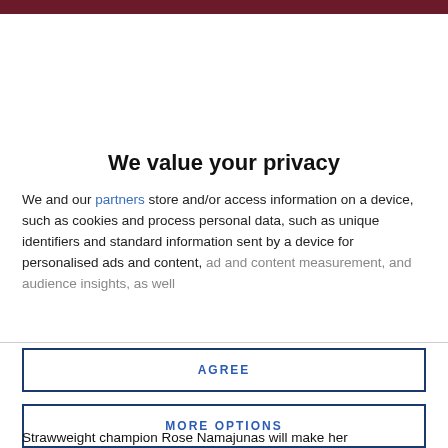We value your privacy
We and our partners store and/or access information on a device, such as cookies and process personal data, such as unique identifiers and standard information sent by a device for personalised ads and content, ad and content measurement, and audience insights, as well
AGREE
MORE OPTIONS
Strawweight champion Rose Namajunas will make her